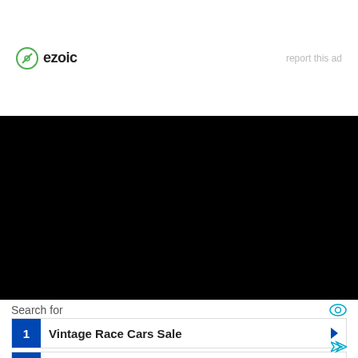[Figure (logo): Ezoic logo with green circle icon and bold text 'ezoic']
report this ad
[Figure (other): Black rectangle placeholder area]
Search for
1 Vintage Race Cars Sale
2 Latest Luxury Cars